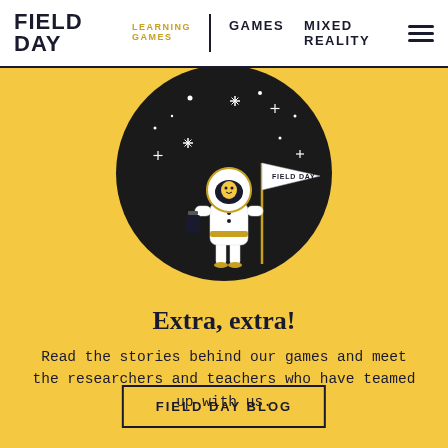FIELD DAY LEARNING GAMES | GAMES  MIXED REALITY
[Figure (illustration): Illustration of an astronaut in a white spacesuit holding a pennant flag labeled 'FIELD DAY', standing in front of a large dark circular background with white stars]
Extra, extra!
Read the stories behind our games and meet the researchers and teachers who have teamed up with us.
FIELD DAY BLOG